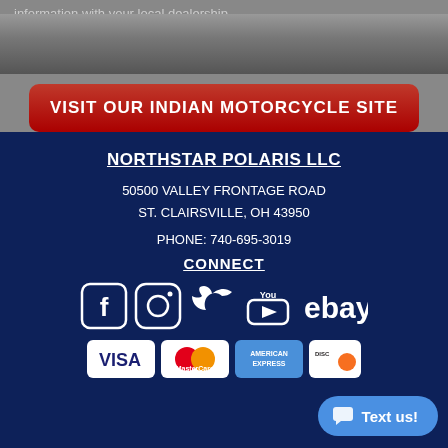information with your local dealership.
[Figure (other): Gray background banner area with motorcycle imagery]
VISIT OUR INDIAN MOTORCYCLE SITE
NORTHSTAR POLARIS LLC
50500 VALLEY FRONTAGE ROAD
ST. CLAIRSVILLE, OH 43950
PHONE: 740-695-3019
CONNECT
[Figure (logo): Social media icons: Facebook, Instagram, Twitter, YouTube, eBay]
[Figure (logo): Payment method icons: Visa, MasterCard, American Express, Discover]
Text us!